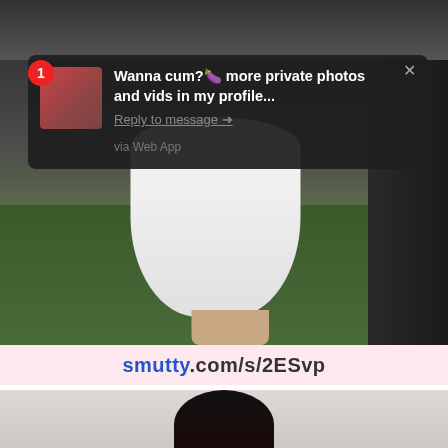[Figure (screenshot): Screenshot of a social media or adult content site showing a person in a white skirt near a vehicle, with greenery in background. A notification popup overlay is visible.]
Wanna cum? 🍆 more private photos and vids in my profile...
Reply to message →
via Web App
smutty.com/s/2ESvp
[Figure (photo): Partial view of a person with dark hair against a light background, cropped at top of frame.]